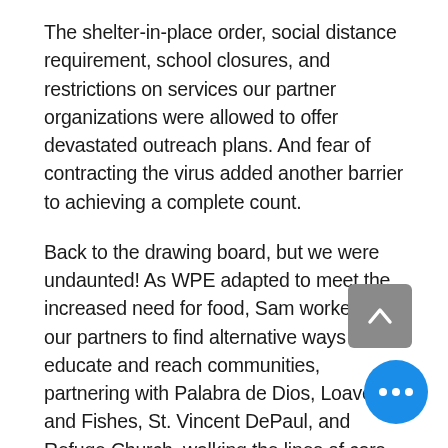The shelter-in-place order, social distance requirement, school closures, and restrictions on services our partner organizations were allowed to offer devastated outreach plans. And fear of contracting the virus added another barrier to achieving a complete count.
Back to the drawing board, but we were undaunted! As WPE adapted to meet the increased need for food, Sam worked with our partners to find alternative ways to educate and reach communities, partnering with Palabra de Dios, Loaves and Fishes, St. Vincent DePaul, and Refuge Church, walking the lines of cars at food distribution events.